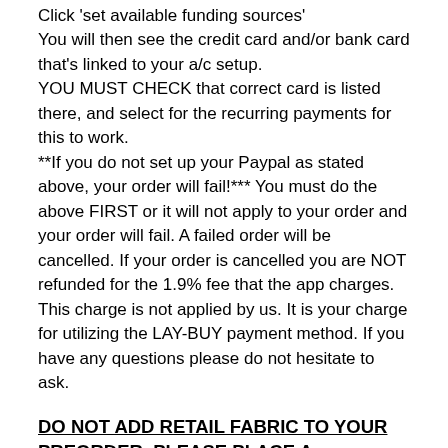Click 'set available funding sources'
You will then see the credit card and/or bank card that's linked to your a/c setup.
YOU MUST CHECK that correct card is listed there, and select for the recurring payments for this to work.
**If you do not set up your Paypal as stated above, your order will fail!*** You must do the above FIRST or it will not apply to your order and your order will fail. A failed order will be cancelled. If your order is cancelled you are NOT refunded for the 1.9% fee that the app charges. This charge is not applied by us. It is your charge for utilizing the LAY-BUY payment method. If you have any questions please do not hesitate to ask.
DO NOT ADD RETAIL FABRIC TO YOUR PREORDER, PLEASE PLACE A SEPARATE ORDER OR YOUR ORDER WILL BE CANCELLED